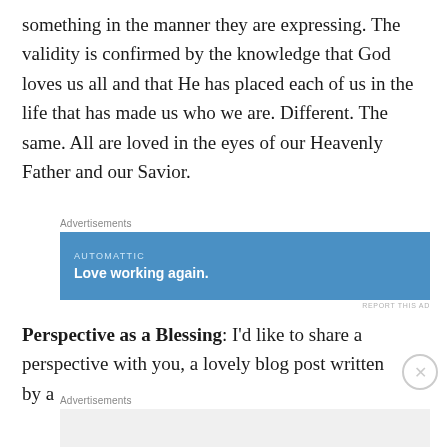something in the manner they are expressing. The validity is confirmed by the knowledge that God loves us all and that He has placed each of us in the life that has made us who we are. Different. The same. All are loved in the eyes of our Heavenly Father and our Savior.
[Figure (other): Advertisement banner for Automattic with blue background and text 'Love working again.']
Perspective as a Blessing: I'd like to share a perspective with you, a lovely blog post written by a
[Figure (other): Second advertisement block with light gray background]